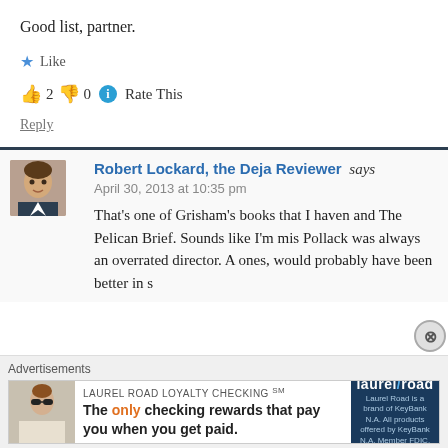Good list, partner.
★ Like
👍 2 👎 0 ℹ Rate This
Reply
[Figure (photo): Avatar photo of Robert Lockard, a man in a suit]
Robert Lockard, the Deja Reviewer says
April 30, 2013 at 10:35 pm
That's one of Grisham's books that I haven and The Pelican Brief. Sounds like I'm mis Pollack was always an overrated director. A ones, would probably have been better in s
Advertisements
LAUREL ROAD LOYALTY CHECKING℠
The only checking rewards that pay you when you get paid.